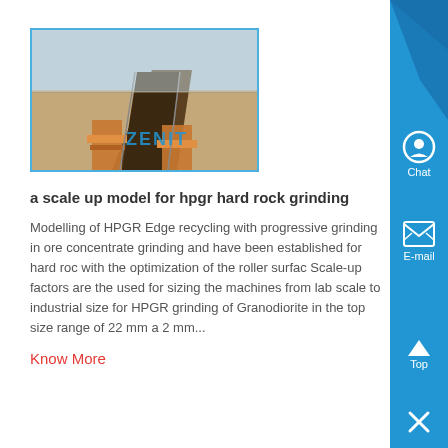[Figure (photo): Industrial conveyor belt equipment in open mining area, with ZENIT watermark]
a scale up model for hpgr hard rock grinding
Modelling of HPGR Edge recycling with progressive grinding in ore concentrate grinding and have been established for hard rock with the optimization of the roller surfac Scale-up factors are the used for sizing the machines from lab scale to industrial size for HPGR grinding of Granodiorite in the top size range of 22 mm a 2 mm...
Know More